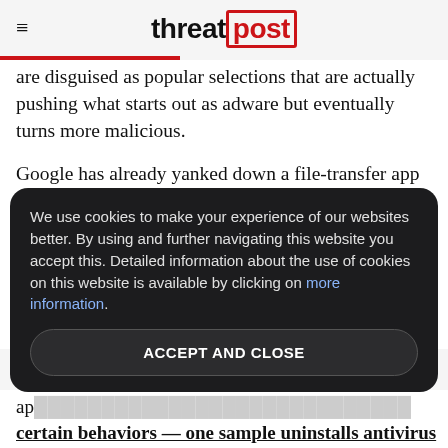threat post
are disguised as popular selections that are actually pushing what starts out as adware but eventually turns more malicious.
Google has already yanked down a file-transfer app called ShareIt, developed by Zhang Long of China, who was posting benign versions of his app to Google Play, but hosting malicious versions on third-party sites. The Google Play version contacted the same command and control server as the malicious samples, but was stripped of
We use cookies to make your experience of our websites better. By using and further navigating this website you accept this. Detailed information about the use of cookies on this website is available by clicking on more information.
ACCEPT AND CLOSE
ap certain behaviors — one sample uninstalls antivirus